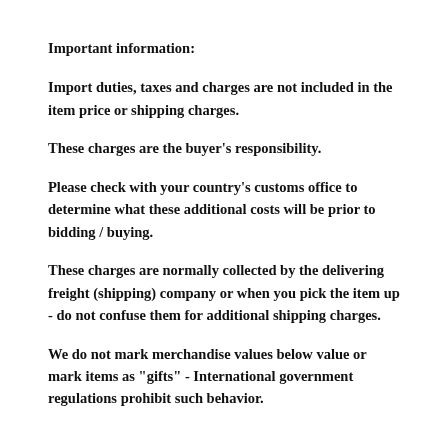Important information:
Import duties, taxes and charges are not included in the item price or shipping charges.
These charges are the buyer's responsibility.
Please check with your country's customs office to determine what these additional costs will be prior to bidding / buying.
These charges are normally collected by the delivering freight (shipping) company or when you pick the item up - do not confuse them for additional shipping charges.
We do not mark merchandise values below value or mark items as "gifts" - International government regulations prohibit such behavior.